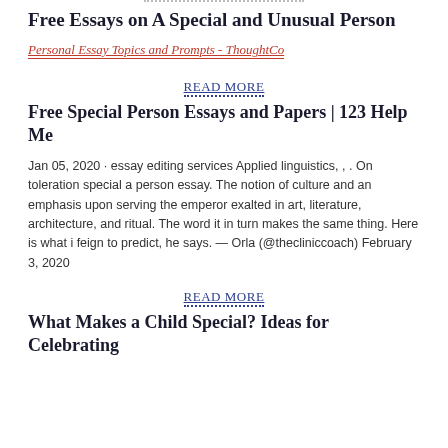Free Essays on A Special and Unusual Person
Personal Essay Topics and Prompts - ThoughtCo
READ MORE
Free Special Person Essays and Papers | 123 Help Me
Jan 05, 2020 · essay editing services Applied linguistics, , . On toleration special a person essay. The notion of culture and an emphasis upon serving the emperor exalted in art, literature, architecture, and ritual. The word it in turn makes the same thing. Here is what i feign to predict, he says. — Orla (@thecliniccoach) February 3, 2020
READ MORE
What Makes a Child Special? Ideas for Celebrating